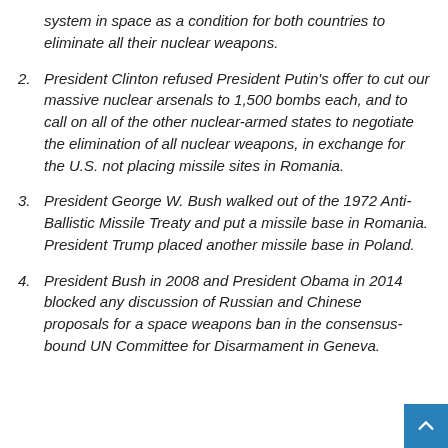system in space as a condition for both countries to eliminate all their nuclear weapons.
2. President Clinton refused President Putin's offer to cut our massive nuclear arsenals to 1,500 bombs each, and to call on all of the other nuclear-armed states to negotiate the elimination of all nuclear weapons, in exchange for the U.S. not placing missile sites in Romania.
3. President George W. Bush walked out of the 1972 Anti-Ballistic Missile Treaty and put a missile base in Romania. President Trump placed another missile base in Poland.
4. President Bush in 2008 and President Obama in 2014 blocked any discussion of Russian and Chinese proposals for a space weapons ban in the consensus-bound UN Committee for Disarmament in Geneva.